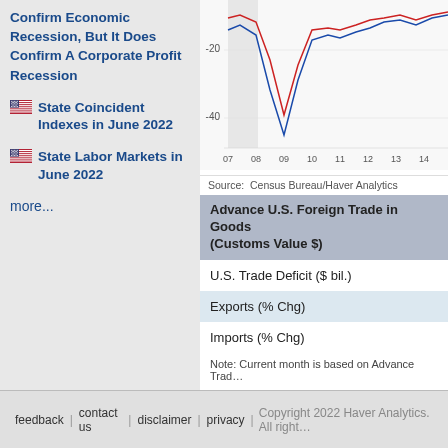Confirm Economic Recession, But It Does Confirm A Corporate Profit Recession
State Coincident Indexes in June 2022
State Labor Markets in June 2022
more...
[Figure (line-chart): Line chart showing trade data over time from approximately 2007 to 2017, with y-axis values around -20 and -40. Contains two lines (blue and red). Source: Census Bureau/Haver Analytics]
Source: Census Bureau/Haver Analytics
| Advance U.S. Foreign Trade in Goods (Customs Value $) |  |
| --- | --- |
| U.S. Trade Deficit ($ bil.) |  |
| Exports (% Chg) |  |
| Imports (% Chg) |  |
Note: Current month is based on Advance Trad...
feedback | contact us | disclaimer | privacy | Copyright 2022 Haver Analytics. All right...